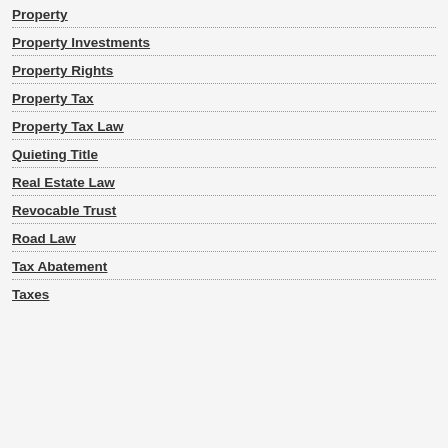Property
Property Investments
Property Rights
Property Tax
Property Tax Law
Quieting Title
Real Estate Law
Revocable Trust
Road Law
Tax Abatement
Taxes